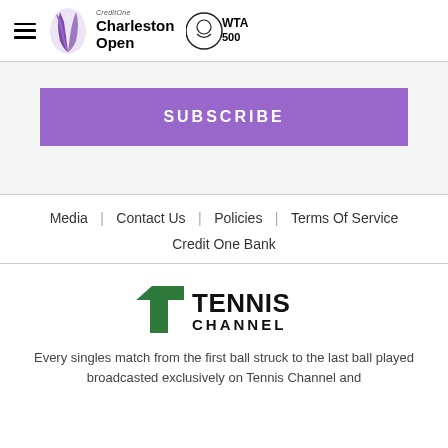Credit One Charleston Open | WTA 500
[Figure (other): SUBSCRIBE button in purple rectangle]
Media   Contact Us   Policies   Terms Of Service
Credit One Bank
[Figure (logo): Tennis Channel logo with green T icon and bold text]
Every singles match from the first ball struck to the last ball played broadcasted exclusively on Tennis Channel and